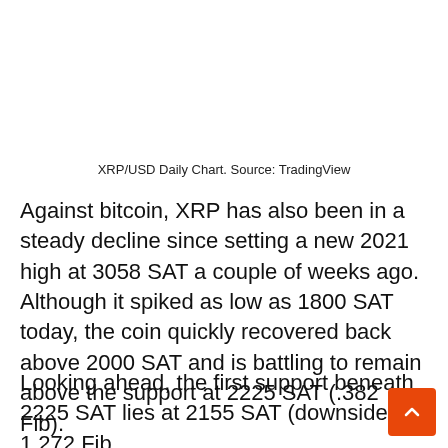XRP/USD Daily Chart. Source: TradingView
Against bitcoin, XRP has also been in a steady decline since setting a new 2021 high at 3058 SAT a couple of weeks ago. Although it spiked as low as 1800 SAT today, the coin quickly recovered back above 2000 SAT and is battling to remain above the support at 2225 SAT (.382 Fib).
Looking ahead, the first support beneath 2225 SAT lies at 2155 SAT (downside 1.272 Fib